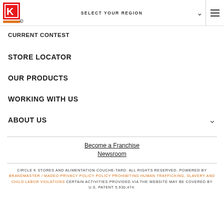SELECT YOUR REGION
CURRENT CONTEST
STORE LOCATOR
OUR PRODUCTS
WORKING WITH US
ABOUT US
Become a Franchise
Newsroom
CIRCLE K STORES AND ALIMENTATION COUCHE-TARD. ALL RIGHTS RESERVED. POWERED BY BRANDMASTER / MADEO PRIVACY POLICY POLICY PROHIBITING HUMAN TRAFFICKING, SLAVERY AND CHILD LABOR VIOLATIONS CERTAIN ACTIVITIES PROVIDED VIA THE WEBSITE MAY BE COVERED BY U.S. PATENT 5,930,474.